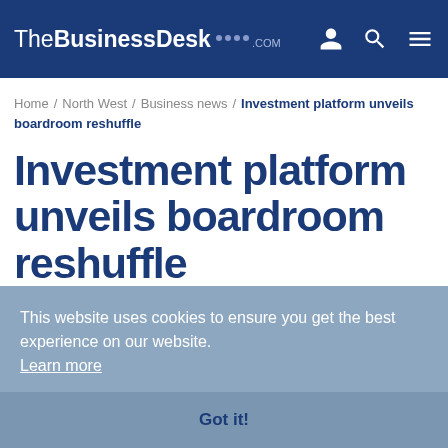TheBusinessDesk.com
Home / North West / Business news / Investment platform unveils boardroom reshuffle
Investment platform unveils boardroom reshuffle
This website uses cookies to ensure you get the best experience on our website. Learn more
Got it!